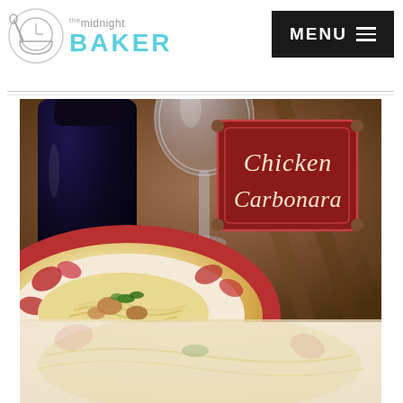The Midnight Baker
[Figure (photo): Chicken Carbonara food photo showing a decorative bowl with pasta carbonara garnished with parsley, a dark wine bottle and clear wine glass in the background, on a wooden surface. Red badge label overlay reads 'Chicken Carbonara' in script font.]
[Figure (photo): Bottom portion of the same food photo extending below the main image, showing the pasta dish continuing.]